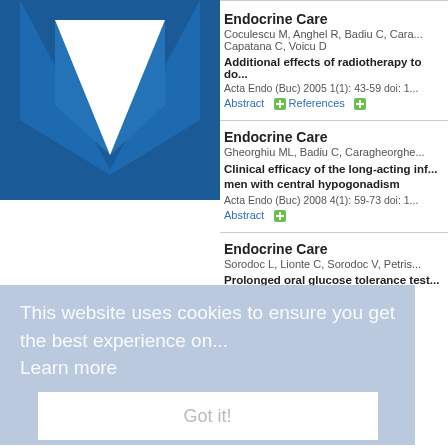[Figure (illustration): Blue banner with chevron/arrow pointing downward in center]
Endocrine Care
Coculescu M, Anghel R, Badiu C, Cara... Capatana C, Voicu D
Additional effects of radiotherapy to do...
Acta Endo (Buc) 2005 1(1): 43-59 doi: 1...
Abstract  References
Endocrine Care
Gheorghiu ML, Badiu C, Caragheorghe...
Clinical efficacy of the long-acting inf... men with central hypogonadism
Acta Endo (Buc) 2008 4(1): 59-73 doi: 1...
Abstract
Endocrine Care
Sorodoc L, Lionte C, Sorodoc V, Petris...
Prolonged oral glucose tolerance test...